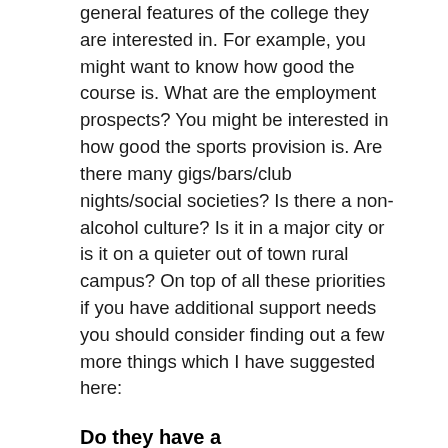general features of the college they are interested in. For example, you might want to know how good the course is. What are the employment prospects? You might be interested in how good the sports provision is. Are there many gigs/bars/club nights/social societies? Is there a non-alcohol culture? Is it in a major city or is it on a quieter out of town rural campus? On top of all these priorities if you have additional support needs you should consider finding out a few more things which I have suggested here:
Do they have a disability/learning support team and how many staff do they have?
Most universities in the UK will have a separate team especially dealing with the Student Support...